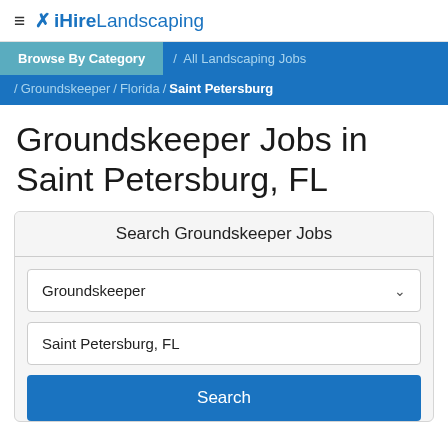iHireLandscaping
Browse By Category / All Landscaping Jobs / Groundskeeper / Florida / Saint Petersburg
Groundskeeper Jobs in Saint Petersburg, FL
Search Groundskeeper Jobs
Groundskeeper
Saint Petersburg, FL
Search